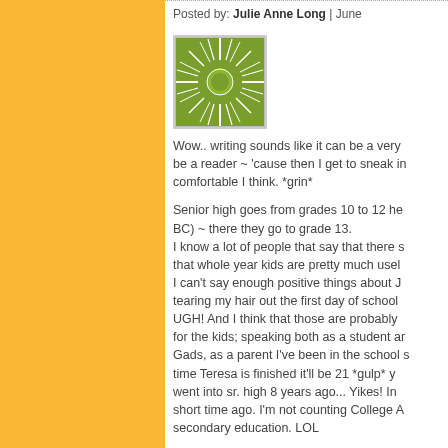Posted by: Julie Anne Long | June
[Figure (illustration): Sun/starburst logo icon — a green circular center with radiating white spikes on a green/yellow background, inside a square border]
Wow.. writing sounds like it can be a very be a reader ~ 'cause then I get to sneak in comfortable I think. *grin*

Senior high goes from grades 10 to 12 her BC) ~ there they go to grade 13.
I know a lot of people that say that there s that whole year kids are pretty much usele I can't say enough positive things about J tearing my hair out the first day of school UGH! And I think that those are probably for the kids; speaking both as a student ar Gads, as a parent I've been in the school s time Teresa is finished it'll be 21 *gulp* y went into sr. high 8 years ago... Yikes! In short time ago. I'm not counting College A secondary education. LOL

And with regard to weather, yep the 60's w the 70's like that I stay inside as much as y